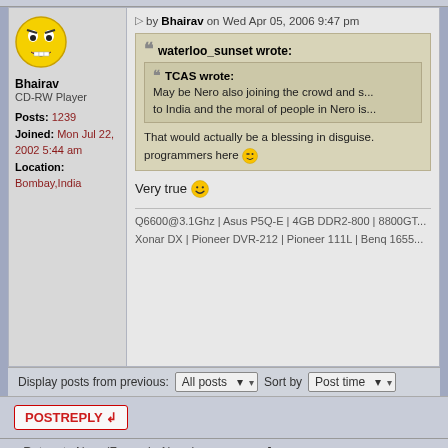by Bhairav on Wed Apr 05, 2006 9:47 pm
waterloo_sunset wrote: TCAS wrote: May be Nero also joining the crowd and s... to India and the moral of people in Nero is...
That would actually be a blessing in disguise. programmers here
Very true
Q6600@3.1Ghz | Asus P5Q-E | 4GB DDR2-800 | 8800GT... Xonar DX | Pioneer DVR-212 | Pioneer 111L | Benq 1655...
Display posts from previous: All posts Sort by Post time
POSTREPLY
Return to Nero (Formerly Ahead Software)
Jump to: Nero (Formerly...